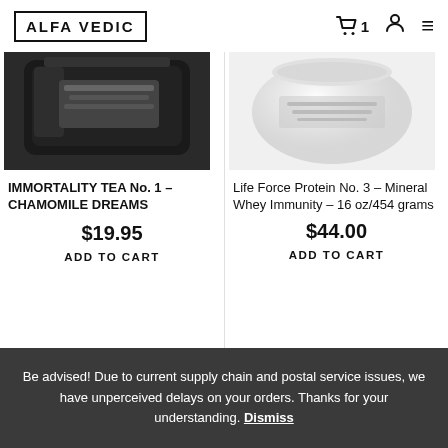ALFA VEDIC
[Figure (photo): Black metallic foil tea bag product photo]
IMMORTALITY TEA No. 1 – CHAMOMILE DREAMS
$19.95
ADD TO CART
[Figure (photo): White container/tub product photo for Life Force Protein]
Life Force Protein No. 3 – Mineral Whey Immunity – 16 oz/454 grams
$44.00
ADD TO CART
JOIN OUR COMMUNITY
Be advised! Due to current supply chain and postal service issues, we have unperceived delays on your orders. Thanks for your understanding. Dismiss